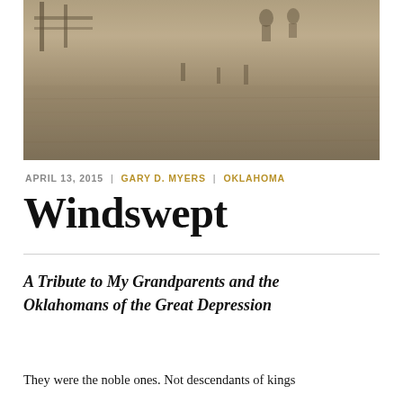[Figure (photo): Sepia-toned historical photograph showing an outdoor scene, likely from the Great Depression era in Oklahoma, with people and fence posts visible in a dusty field.]
APRIL 13, 2015  |  GARY D. MYERS  |  OKLAHOMA
Windswept
A Tribute to My Grandparents and the Oklahomans of the Great Depression
They were the noble ones. Not descendants of kings